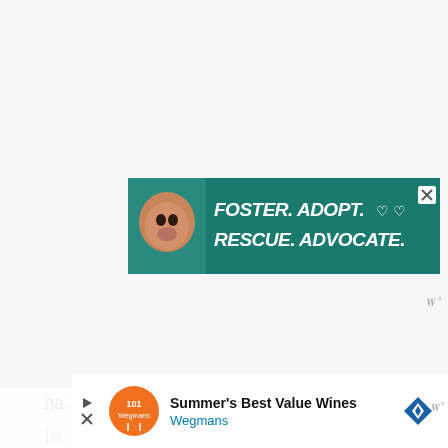[Figure (illustration): Advertisement banner with green background showing a pit bull dog on the left and bold white italic text reading 'FOSTER. ADOPT. RESCUE. ADVOCATE.' with heart icons and a close (X) button in the top right.]
Say goodbye to the old pumpkin pie. Butternut is the new pumpkin. You might as well make a tart instead of a pie while you are at it. Tarts are much prettier anyway. The crust is easy to make. All you ha...ga...a fo...b...
[Figure (illustration): Bottom advertisement bar showing Wegmans logo (orange circular icon with fork and spoon), text 'Summer's Best Value Wines' in bold and 'Wegmans' in teal, a blue diamond navigation arrow icon on the right, and a dismiss button (arrow with X).]